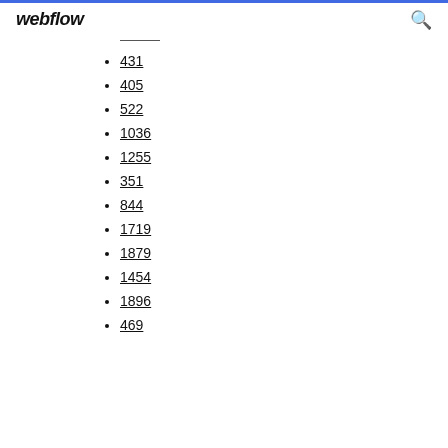webflow
431
405
522
1036
1255
351
844
1719
1879
1454
1896
469